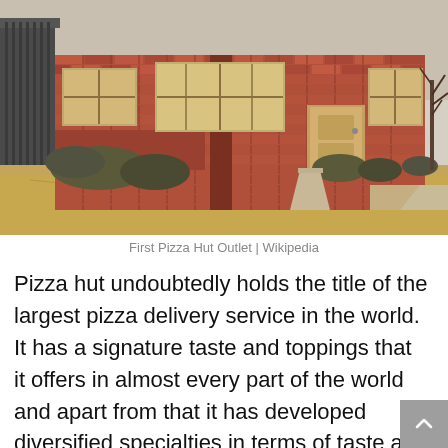[Figure (photo): Photograph of the first Pizza Hut outlet — a small red-brick building with a Pizza Hut sign visible above the entrance door, surrounded by a dry grass lawn and bare shrubs, taken in winter.]
First Pizza Hut Outlet | Wikipedia
Pizza hut undoubtedly holds the title of the largest pizza delivery service in the world. It has a signature taste and toppings that it offers in almost every part of the world and apart from that it has developed diversified specialties in terms of taste and flavors depending on the region of its existence. It was this restaurant that was founded in 1958 by Dan and